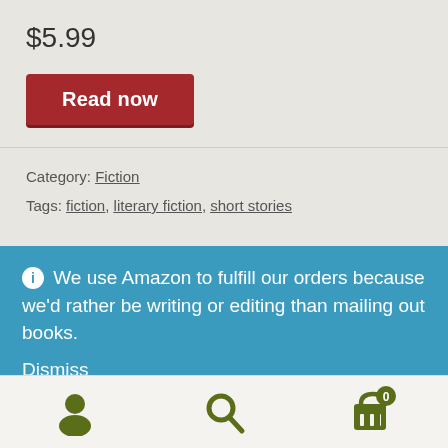$5.99
Read now
Category: Fiction
Tags: fiction, literary fiction, short stories
ℹ We use Amazon to fulfill our orders because we'd rather be writing or editing than mailing out books. Dismiss
[Figure (infographic): Bottom navigation bar with three icons: user/person icon, search/magnifying glass icon, and shopping cart icon with badge showing 0, all in olive/dark green color]